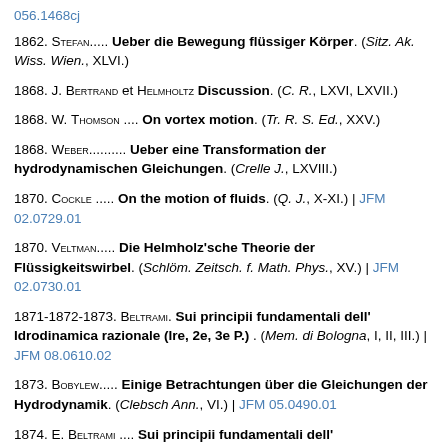056.1468cj
1862. Stefan..... Ueber die Bewegung flüssiger Körper. (Sitz. Ak. Wiss. Wien., XLVI.)
1868. J. Bertrand et Helmholtz Discussion. (C. R., LXVI, LXVII.)
1868. W. Thomson .... On vortex motion. (Tr. R. S. Ed., XXV.)
1868. Weber.......... Ueber eine Transformation der hydrodynamischen Gleichungen. (Crelle J., LXVIII.)
1870. Cockle ..... On the motion of fluids. (Q. J., X-XI.) | JFM 02.0729.01
1870. Veltman...... Die Helmholz'sche Theorie der Flüssigkeitswirbel. (Schlöm. Zeitsch. f. Math. Phys., XV.) | JFM 02.0730.01
1871-1872-1873. Beltrami. Sui principii fundamentali dell' Idrodinamica razionale (Ire, 2e, 3e P.) . (Mem. di Bologna, I, II, III.) | JFM 08.0610.02
1873. Bobylew...... Einige Betrachtungen über die Gleichungen der Hydrodynamik. (Clebsch Ann., VI.) | JFM 05.0490.01
1874. E. Beltrami .... Sui principii fundamentali dell'